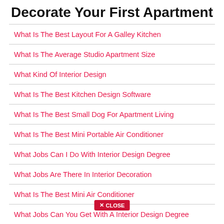Decorate Your First Apartment
What Is The Best Layout For A Galley Kitchen
What Is The Average Studio Apartment Size
What Kind Of Interior Design
What Is The Best Kitchen Design Software
What Is The Best Small Dog For Apartment Living
What Is The Best Mini Portable Air Conditioner
What Jobs Can I Do With Interior Design Degree
What Jobs Are There In Interior Decoration
What Is The Best Mini Air Conditioner
What Jobs Can You Get With A Interior Design Degree
What Is The Cheapest Type Of Flooring